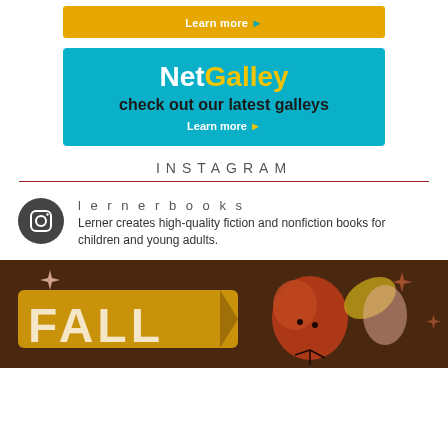[Figure (infographic): Yellow 'Learn more' button bar at top]
[Figure (infographic): NetGalley banner in teal/cyan with text 'NetGalley check out our latest galleys' and 'Learn more' link]
INSTAGRAM
lernerbooks
Lerner creates high-quality fiction and nonfiction books for children and young adults.
[Figure (photo): Fall-themed illustration with brown background, autumn leaves, and large text 'FALL']